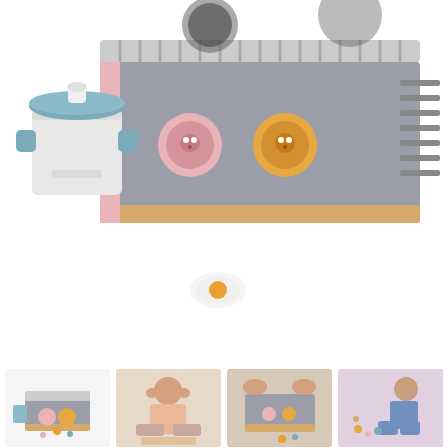[Figure (photo): Main product image of a children's wooden toy kitchen set with a cooktop, pot with lid in teal/blue, and a fried egg piece. The cooktop is gray with pink and orange animal face knobs and a wooden trim.]
[Figure (photo): Small thumbnail of the full toy kitchen set from front angle showing the cooktop with accessories and play food items.]
[Figure (photo): Child playing with the toy kitchen set on the floor.]
[Figure (photo): Hands arranging toy kitchen accessories on the cooktop surface.]
[Figure (photo): Child crouching and playing with the toy kitchen pieces on the floor.]
[Figure (photo): Thumbnail of a toaster-style wooden toy accessory with play food.]
[Figure (photo): Flat lay of various wooden play food donuts, cookies, and egg pieces in pink, grey, and gold colors.]
[Figure (photo): Set of wooden kitchen utensils including spoon, spatula, knife, and tongs in teal and gold colors.]
[Figure (photo): Wooden condiment rack or spice shelf accessory with small bottles/jars.]
[Figure (photo): Product packaging box image showing the toy kitchen set.]